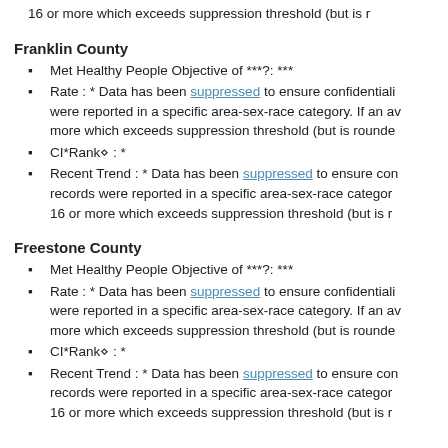16 or more which exceeds suppression threshold (but is r...
Franklin County
Met Healthy People Objective of ***?: ***
Rate : * Data has been suppressed to ensure confidentiality were reported in a specific area-sex-race category. If an av more which exceeds suppression threshold (but is rounde
CI*Rank⋄ : *
Recent Trend : * Data has been suppressed to ensure con records were reported in a specific area-sex-race categor 16 or more which exceeds suppression threshold (but is r
Freestone County
Met Healthy People Objective of ***?: ***
Rate : * Data has been suppressed to ensure confidentiality were reported in a specific area-sex-race category. If an av more which exceeds suppression threshold (but is rounde
CI*Rank⋄ : *
Recent Trend : * Data has been suppressed to ensure con records were reported in a specific area-sex-race categor 16 or more which exceeds suppression threshold (but is r